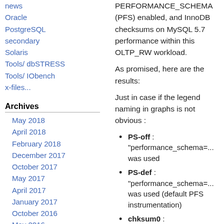news
Oracle
PostgreSQL
secondary
Solaris
Tools/ dbSTRESS
Tools/ IObench
x-files...
Archives
May 2018
April 2018
February 2018
December 2017
October 2017
May 2017
April 2017
January 2017
October 2016
May 2016
February 2016
December 2015
November 2015
October 2015
September 2015
April 2015
February 2015
PERFORMANCE_SCHEMA (PFS) enabled, and InnoDB checksums on MySQL 5.7 performance within this OLTP_RW workload.
As promised, here are the results:
Just in case if the legend naming in graphs is not obvious :
PS-off : "performance_schema=... was used
PS-def : "performance_schema=... was used (default PFS instrumentation)
chksum0 : "innodb_checksums=0" was used
chksum1 : "innodb_checksums=0", innodb_checksum_algo... was used